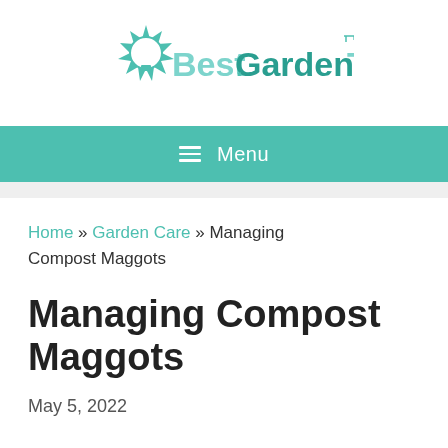[Figure (logo): BestGarden.Tips logo with sun/lightbulb icon in teal/green colors]
☰ Menu
Home » Garden Care » Managing Compost Maggots
Managing Compost Maggots
May 5, 2022